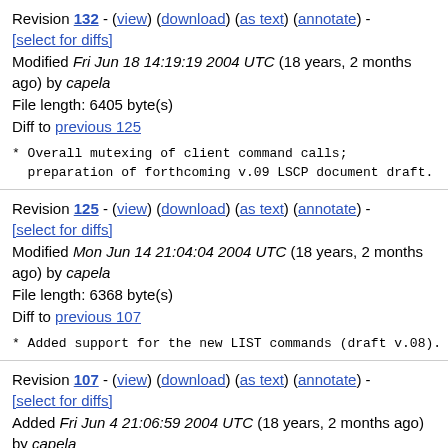Revision 132 - (view) (download) (as text) (annotate) - [select for diffs] Modified Fri Jun 18 14:19:19 2004 UTC (18 years, 2 months ago) by capela File length: 6405 byte(s) Diff to previous 125
* Overall mutexing of client command calls;
  preparation of forthcoming v.09 LSCP document draft.
Revision 125 - (view) (download) (as text) (annotate) - [select for diffs] Modified Mon Jun 14 21:04:04 2004 UTC (18 years, 2 months ago) by capela File length: 6368 byte(s) Diff to previous 107
* Added support for the new LIST commands (draft v.08).
Revision 107 - (view) (download) (as text) (annotate) - [select for diffs] Added Fri Jun 4 21:06:59 2004 UTC (18 years, 2 months ago) by capela File length: 6368 byte(s)